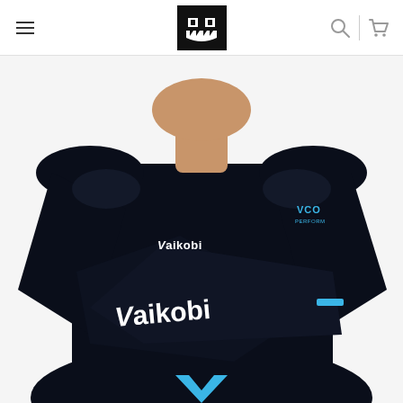Navigation header with hamburger menu, Vaikobi logo, search icon, and cart icon
[Figure (photo): A man wearing a Vaikobi black long-sleeve compression shirt with arms crossed. The shirt has the Vaikobi logo on the chest in white and on the forearm in large white letters. There is a blue VCO logo on the left shoulder area and blue chevron detail at the bottom hem.]